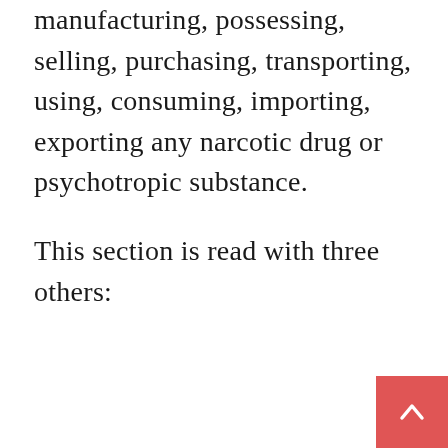manufacturing, possessing, selling, purchasing, transporting, using, consuming, importing, exporting any narcotic drug or psychotropic substance.
This section is read with three others: